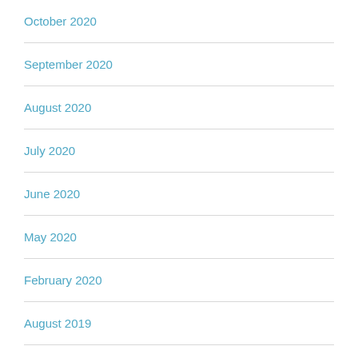October 2020
September 2020
August 2020
July 2020
June 2020
May 2020
February 2020
August 2019
July 2019
June 2019